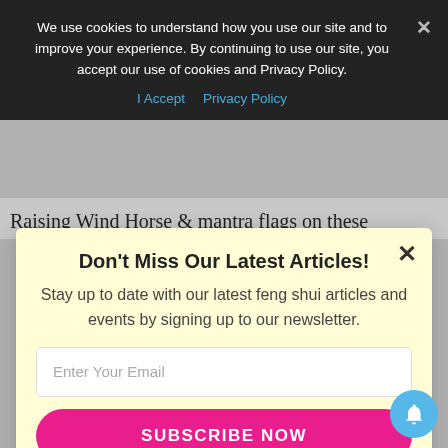We use cookies to understand how you use our site and to improve your experience. By continuing to use our site, you accept our use of cookies and Privacy Policy.
I Accept   Privacy Policy
Raising Wind Horse & mantra flags on these
Don't Miss Our Latest Articles!
Stay up to date with our latest feng shui articles and events by signing up to our newsletter.
Enter Your Email
SUBSCRIBE NOW
No thanks, I'm not interested